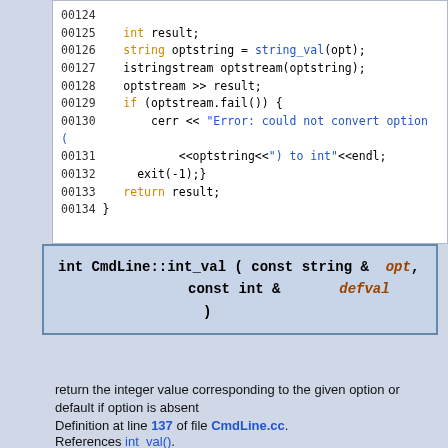[Figure (screenshot): Source code listing lines 00124-00134 showing int_val function body with syntax highlighting]
[Figure (screenshot): Function signature box: int CmdLine::int_val ( const string & opt, const int & defval )]
return the integer value corresponding to the given option or default if option is absent
Definition at line 137 of file CmdLine.cc.
References int_val().
[Figure (screenshot): Source code listing lines 00137-00139 showing int_val implementation with present_and_set check]